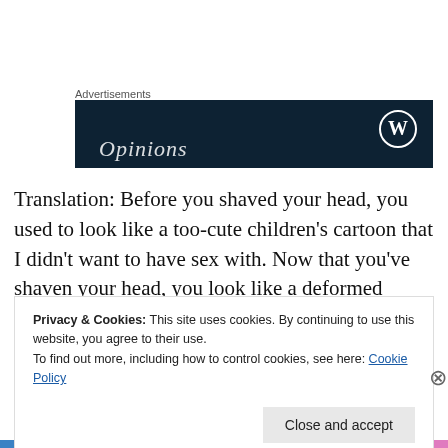Advertisements
[Figure (screenshot): Dark navy advertisement banner with WordPress logo (circle with W) in top right and italic 'Opinions' text visible at bottom left]
Translation: Before you shaved your head, you used to look like a too-cute children's cartoon that I didn't want to have sex with. Now that you've shaven your head, you look like a deformed children's cartoon that I don't want to
Privacy & Cookies: This site uses cookies. By continuing to use this website, you agree to their use.
To find out more, including how to control cookies, see here: Cookie Policy
Close and accept